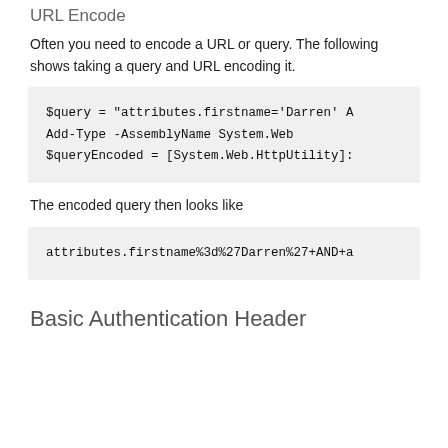URL Encode
Often you need to encode a URL or query. The following shows taking a query and URL encoding it.
$query = "attributes.firstname='Darren' A
Add-Type -AssemblyName System.Web
$queryEncoded = [System.Web.HttpUtility]:
The encoded query then looks like
attributes.firstname%3d%27Darren%27+AND+a
Basic Authentication Header